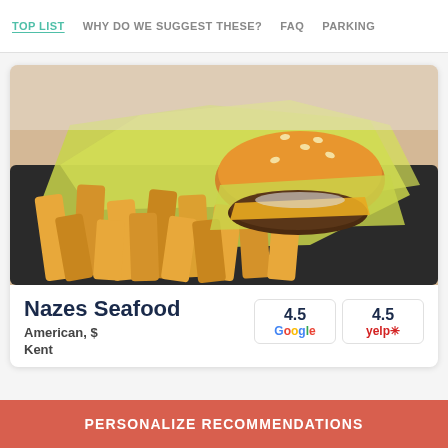TOP LIST | WHY DO WE SUGGEST THESE? | FAQ | PARKING
[Figure (photo): A basket tray with a cheeseburger wrapped in yellow-green parchment paper and a large pile of thick-cut french fries on a dark tray.]
Nazes Seafood
American, $
Kent
4.5 Google
4.5 yelp
PERSONALIZE RECOMMENDATIONS